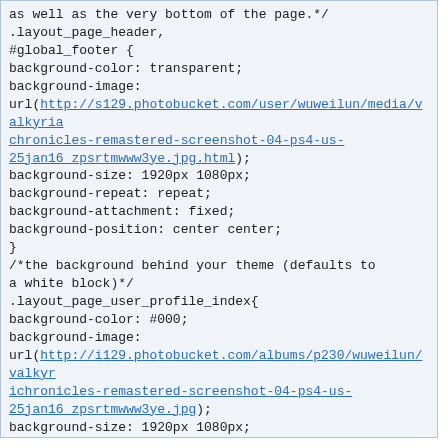as well as the very bottom of the page.*/
.layout_page_header,
#global_footer {
background-color: transparent;
background-image:
url(http://s129.photobucket.com/user/wuweilun/media/valkyriachronicles-remastered-screenshot-04-ps4-us-25jan16_zpsrtmwww3ye.jpg.html);
background-size: 1920px 1080px;
background-repeat: repeat;
background-attachment: fixed;
background-position: center center;
}
/*the background behind your theme (defaults to a white block)*/
.layout_page_user_profile_index{
background-color: #000;
background-image:
url(http://i129.photobucket.com/albums/p230/wuweilun/valkyriachronicles-remastered-screenshot-04-ps4-us-25jan16_zpsrtmwww3ye.jpg);
background-size: 1920px 1080px;
background-repeat: repeat;
background-attachment: fixed;
background-position: center center;
}